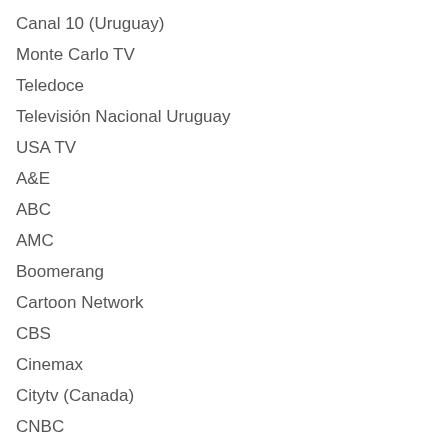Canal 10 (Uruguay)
Monte Carlo TV
Teledoce
Televisión Nacional Uruguay
USA TV
A&E
ABC
AMC
Boomerang
Cartoon Network
CBS
Cinemax
Citytv (Canada)
CNBC
CNN
Discovery Channel
Discovery Kids